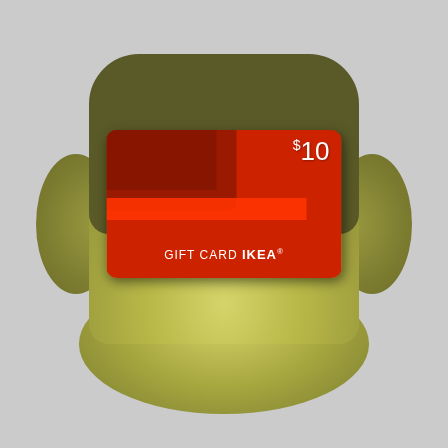[Figure (photo): IKEA $10 gift card in a decorative olive/khaki colored rounded card holder with tree patterns. The red gift card is centered in the holder showing '$10' in white in the upper right, geometric darker red shapes, a bright red stripe, and 'GIFT CARD IKEA®' text in white at the bottom. The holder has rounded flaps on top, bottom, left, and right sides.]